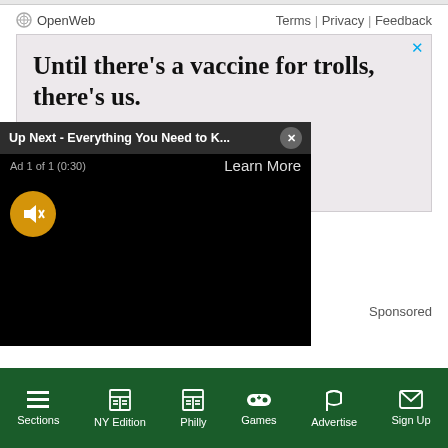OpenWeb  Terms | Privacy | Feedback
[Figure (screenshot): Advertisement banner with text 'Until there's a vaccine for trolls, there's us.' and subtext 'It's time to save online conversations']
[Figure (screenshot): Video player overlay showing 'Up Next - Everything You Need to K...' with a muted video ad (Ad 1 of 1 (0:30)) and Learn More button]
Sponsored
Sections | NY Edition | Philly | Games | Advertise | Sign Up